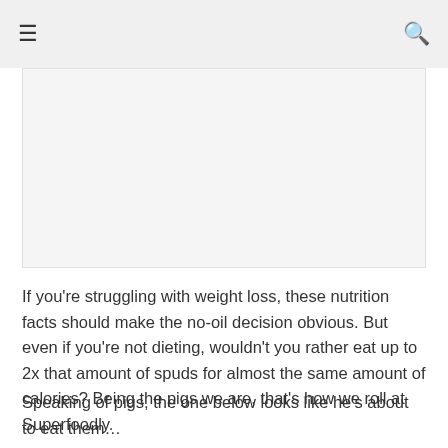≡  🔍
[Figure (photo): A blank/white image placeholder area]
If you're struggling with weight loss, these nutrition facts should make the no-oil decision obvious. But even if you're not dieting, wouldn't you rather eat up to 2x that amount of spuds for almost the same amount of calories? Being the pigs we are, that's how we roll at Superfoodly.
Speaking of pigs, the one below looks like he's about to eat them…